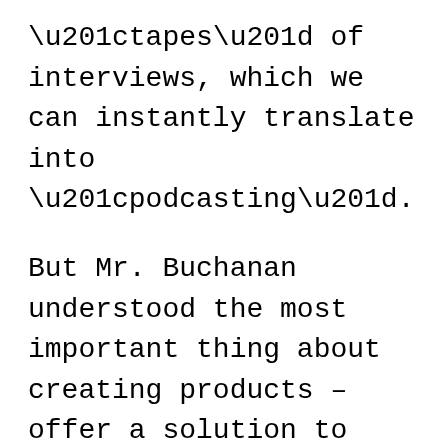“tapes” of interviews, which we can instantly translate into “podcasting”.
But Mr. Buchanan understood the most important thing about creating products – offer a solution to people with a problem.
So I enjoyed reading through his report and did indeed pick up a couple things from it.